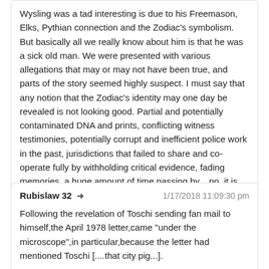Wysling was a tad interesting is due to his Freemason, Elks, Pythian connection and the Zodiac's symbolism. But basically all we really know about him is that he was a sick old man. We were presented with various allegations that may or may not have been true, and parts of the story seemed highly suspect. I must say that any notion that the Zodiac's identity may one day be revealed is not looking good. Partial and potentially contaminated DNA and prints, conflicting witness testimonies, potentially corrupt and inefficient police work in the past, jurisdictions that failed to share and co-operate fully by withholding critical evidence, fading memories, a huge amount of time passing by... no, it is not looking good at all!
Rubislaw 32 ➜	1/17/2018 11:09:30 pm
Following the revelation of Toschi sending fan mail to himself,the April 1978 letter,came "under the microscope",in particular,because the letter had mentioned Toschi [....that city pig...].

So three documents examiners and Morrill examined the